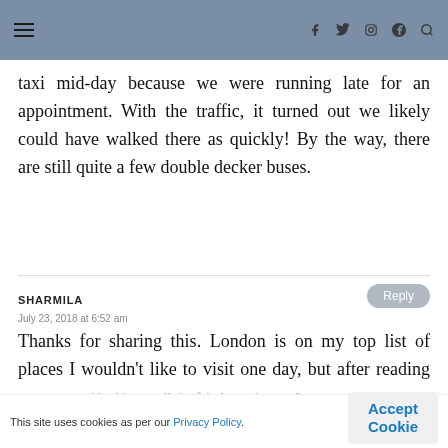≡ [navigation icons: f, twitter, mail, pinterest, search]
taxi mid-day because we were running late for an appointment. With the traffic, it turned out we likely could have walked there as quickly! By the way, there are still quite a few double decker buses.
SHARMILA
July 23, 2018 at 6:52 am
Thanks for sharing this. London is on my top list of places I wouldn't like to visit one day, but after reading your post and looking at all the fabulous pictures I
This site uses cookies as per our Privacy Policy.